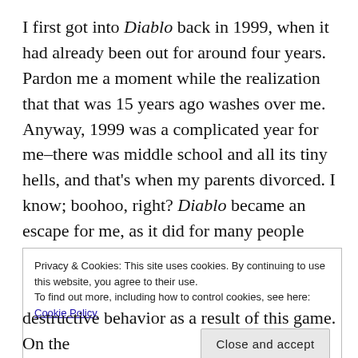I first got into Diablo back in 1999, when it had already been out for around four years. Pardon me a moment while the realization that that was 15 years ago washes over me. Anyway, 1999 was a complicated year for me–there was middle school and all its tiny hells, and that's when my parents divorced. I know; boohoo, right? Diablo became an escape for me, as it did for many people during that time. I missed a lot of school, my grades came down quite a bit (which was unusual for
Privacy & Cookies: This site uses cookies. By continuing to use this website, you agree to their use. To find out more, including how to control cookies, see here: Cookie Policy
Close and accept
destructive behavior as a result of this game. On the